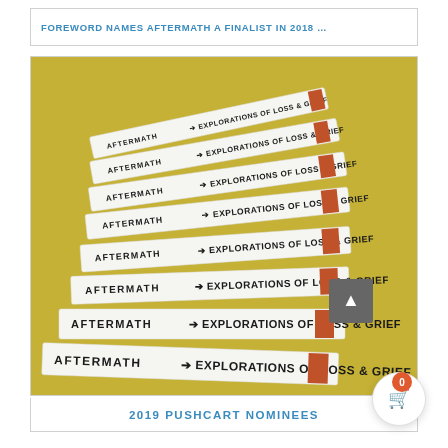FOREWORD NAMES AFTERMATH A FINALIST IN 2018 …
[Figure (photo): Stack of books with spines reading 'AFTERMATH ➔ EXPLORATIONS OF LOSS & GRIEF' arranged on a yellow/mustard background. Multiple copies stacked at an angle showing the spines clearly.]
2019 PUSHCART NOMINEES